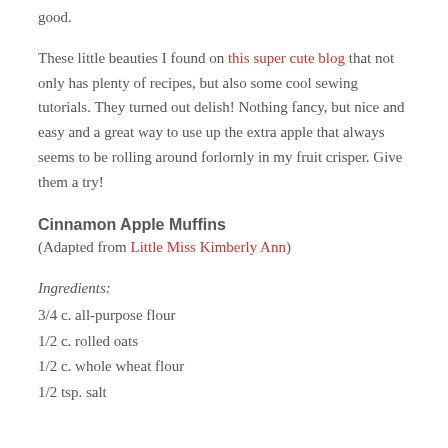good.
These little beauties I found on this super cute blog that not only has plenty of recipes, but also some cool sewing tutorials. They turned out delish! Nothing fancy, but nice and easy and a great way to use up the extra apple that always seems to be rolling around forlornly in my fruit crisper. Give them a try!
Cinnamon Apple Muffins
(Adapted from Little Miss Kimberly Ann)
Ingredients:
3/4 c. all-purpose flour
1/2 c. rolled oats
1/2 c. whole wheat flour
1/2 tsp. salt